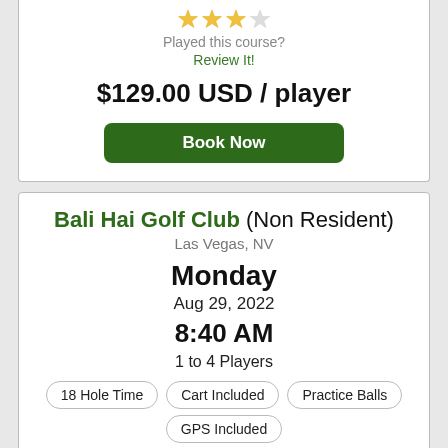[Figure (other): 3 gold stars and 1 gray star rating (partial view, top card)]
Played this course?
Review It!
$129.00 USD / player
Book Now
Bali Hai Golf Club (Non Resident)
Las Vegas, NV
Monday
Aug 29, 2022
8:40 AM
1 to 4 Players
18 Hole Time
Cart Included
Practice Balls
GPS Included
[Figure (other): 3 gold stars and 1 gray star rating (partial view, bottom card)]